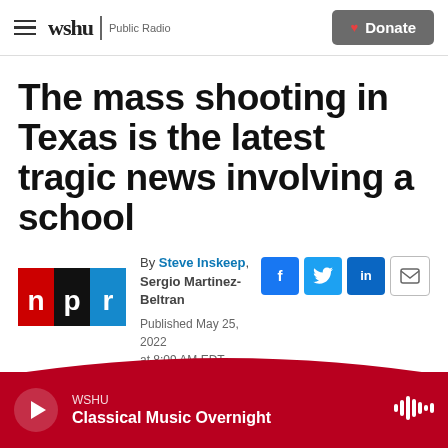wshu Public Radio | Donate
The mass shooting in Texas is the latest tragic news involving a school
By Steve Inskeep, Sergio Martinez-Beltran
Published May 25, 2022 at 8:09 AM EDT
WSHU Classical Music Overnight